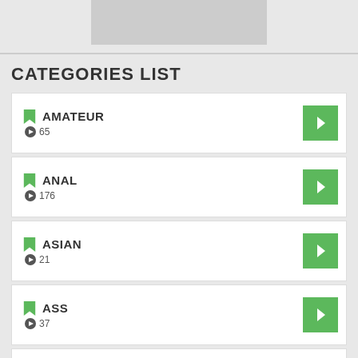[Figure (other): Gray placeholder image at top]
CATEGORIES LIST
AMATEUR 65
ANAL 176
ASIAN 21
ASS 37
ASSLICK 7